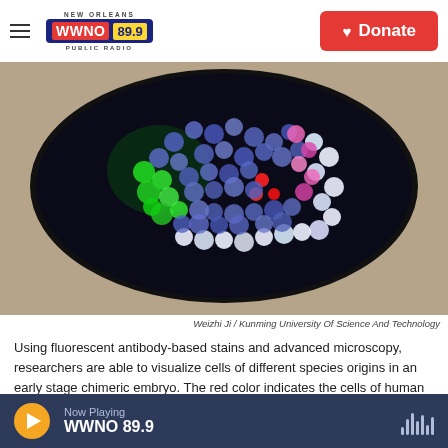WWNO 89.9 NEW ORLEANS PUBLIC RADIO | Donate
[Figure (photo): Fluorescence microscopy image of an early-stage chimeric embryo showing cells of different species origins. A sphere of cells on a tan/beige background, with blue, white, green, red, and pink fluorescent markers indicating different cell types.]
Weizhi Ji / Kunming University Of Science And Technology
Using fluorescent antibody-based stains and advanced microscopy, researchers are able to visualize cells of different species origins in an early stage chimeric embryo. The red color indicates the cells of human
Now Playing WWNO 89.9